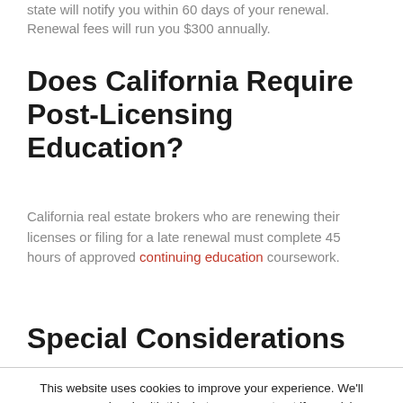state will notify you within 60 days of your renewal. Renewal fees will run you $300 annually.
Does California Require Post-Licensing Education?
California real estate brokers who are renewing their licenses or filing for a late renewal must complete 45 hours of approved continuing education coursework.
Special Considerations
This website uses cookies to improve your experience. We'll assume you're ok with this, but you can opt-out if you wish. Accept Reject Read More